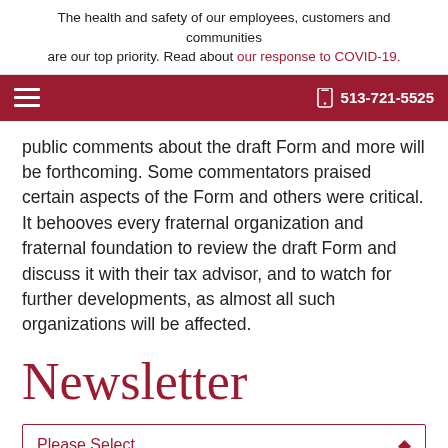The health and safety of our employees, customers and communities are our top priority. Read about our response to COVID-19.
☰   📱 513-721-5525
public comments about the draft Form and more will be forthcoming.  Some commentators praised certain aspects of the Form and others were critical.  It behooves every fraternal organization and fraternal foundation to review the draft Form and discuss it with their tax advisor, and to watch for further developments, as almost all such organizations will be affected.
Newsletter
Please Select